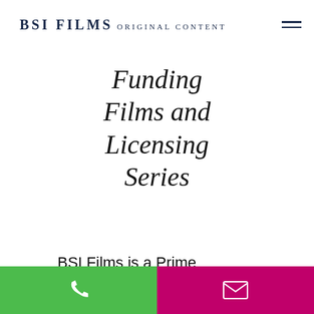BSI FILMS ORIGINAL CONTENT
Funding Films and Licensing Series
BSI Films is a Prime Vendor for major Hollywood studios, streaming
[Figure (infographic): Bottom navigation bar with green phone button on left and magenta/pink email button on right]